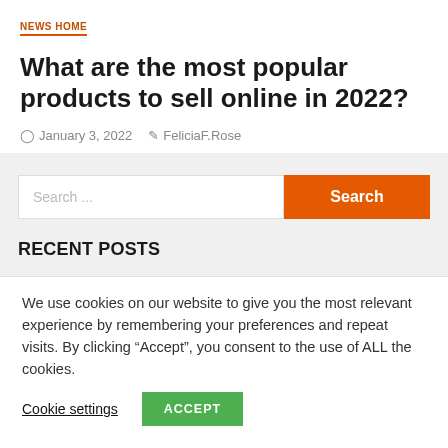NEWS HOME
What are the most popular products to sell online in 2022?
January 3, 2022   FeliciaF.Rose
[Figure (screenshot): Search bar with orange Search button and Recent Posts header on gray background]
We use cookies on our website to give you the most relevant experience by remembering your preferences and repeat visits. By clicking “Accept”, you consent to the use of ALL the cookies.
Cookie settings   ACCEPT